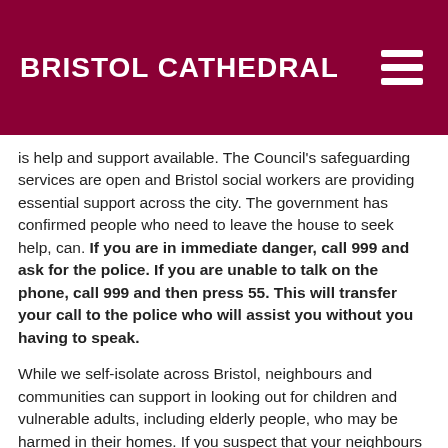BRISTOL CATHEDRAL
is help and support available. The Council's safeguarding services are open and Bristol social workers are providing essential support across the city. The government has confirmed people who need to leave the house to seek help, can. If you are in immediate danger, call 999 and ask for the police. If you are unable to talk on the phone, call 999 and then press 55. This will transfer your call to the police who will assist you without you having to speak.
While we self-isolate across Bristol, neighbours and communities can support in looking out for children and vulnerable adults, including elderly people, who may be harmed in their homes. If you suspect that your neighbours or those in your community are victims of abuse, we encourage you to report it to the police.
Where to get help
Next link provides some time and place...